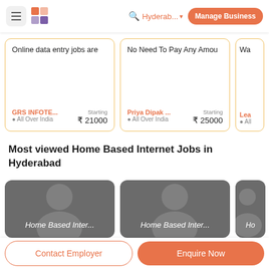≡  [logo]  🔍 Hyderab... ▾  Manage Business
Online data entry jobs are
GRS INFOTE...  All Over India  Starting ₹ 21000
No Need To Pay Any Amou
Priya Dipak ...  All Over India  Starting ₹ 25000
Wa...  All...
Most viewed Home Based Internet Jobs in Hyderabad
[Figure (photo): User profile placeholder card with text 'Home Based Inter...']
[Figure (photo): User profile placeholder card with text 'Home Based Inter...']
[Figure (photo): Partial user profile placeholder card with text 'Ho...']
Contact Employer
Enquire Now